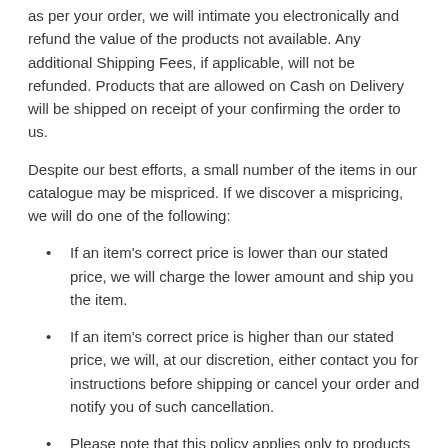as per your order, we will intimate you electronically and refund the value of the products not available. Any additional Shipping Fees, if applicable, will not be refunded. Products that are allowed on Cash on Delivery will be shipped on receipt of your confirming the order to us.
Despite our best efforts, a small number of the items in our catalogue may be mispriced. If we discover a mispricing, we will do one of the following:
If an item's correct price is lower than our stated price, we will charge the lower amount and ship you the item.
If an item's correct price is higher than our stated price, we will, at our discretion, either contact you for instructions before shipping or cancel your order and notify you of such cancellation.
Please note that this policy applies only to products sold and shipped by zunnfashion.com
The prices displayed on this site are quoted in Pakistan Rupee currency which you can view in your preferred currency using the currency converter link. This currency converter is only indicative and a value added tool. The actual amount to be paid by you will